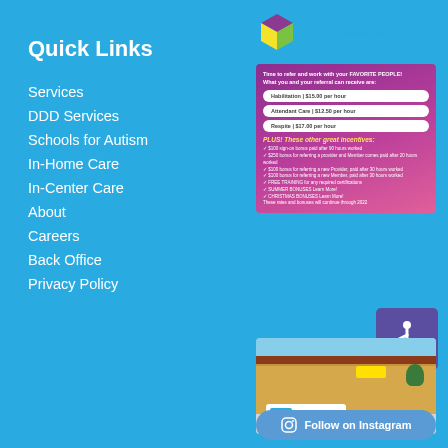Quick Links
Services
DDD Services
Schools for Autism
In-Home Care
In-Center Care
About
Careers
Back Office
Privacy Policy
[Figure (logo): Lexington Services logo with colorful cube icon and text 'lexingtonservices']
[Figure (infographic): Referral program card showing rates: Habilitation $15.00 per hour, Attendant Care $12.50 per hour, Respite $17.00 per hour, plus bonuses and incentives]
[Figure (photo): Photo of a Lexington Services white van parked in front of a building with blue sky]
Follow on Instagram